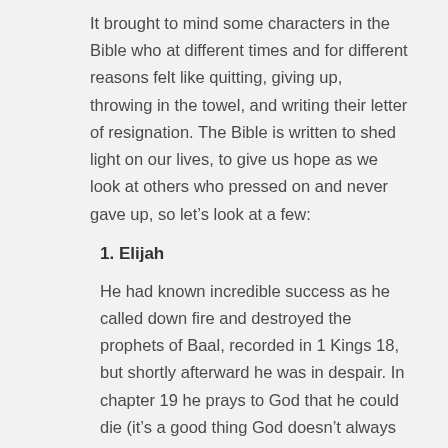It brought to mind some characters in the Bible who at different times and for different reasons felt like quitting, giving up, throwing in the towel, and writing their letter of resignation. The Bible is written to shed light on our lives, to give us hope as we look at others who pressed on and never gave up, so let's look at a few:
1. Elijah
He had known incredible success as he called down fire and destroyed the prophets of Baal, recorded in 1 Kings 18, but shortly afterward he was in despair. In chapter 19 he prays to God that he could die (it's a good thing God doesn't always answer every prayer we pray in the way we ask!) He was simply exhausted – mentally, emotionally and